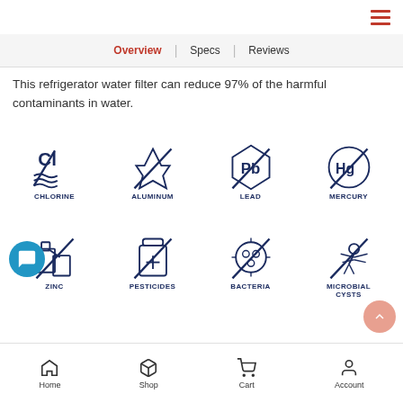[Figure (screenshot): Hamburger menu icon (three horizontal red lines) in top right corner]
Overview | Specs | Reviews
This refrigerator water filter can reduce 97% of the harmful contaminants in water.
[Figure (infographic): Grid of 8 contaminant icons with labels: CHLORINE, ALUMINUM, LEAD, MERCURY, ZINC, PESTICIDES, BACTERIA, MICROBIAL CYSTS]
Home | Shop | Cart | Account